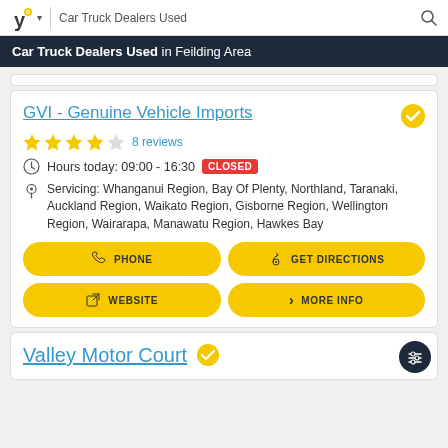Car Truck Dealers Used
Car Truck Dealers Used in Feilding Area
GVI - Genuine Vehicle Imports
8 reviews
Hours today: 09:00 - 16:30 CLOSED
Servicing: Whanganui Region, Bay Of Plenty, Northland, Taranaki, Auckland Region, Waikato Region, Gisborne Region, Wellington Region, Wairarapa, Manawatu Region, Hawkes Bay
PHONE
GET DIRECTIONS
WEBSITE
MORE INFO
Valley Motor Court